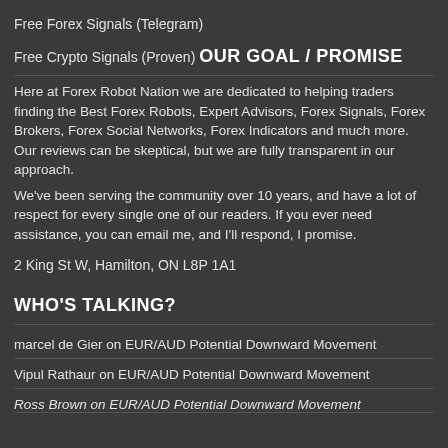Free Forex Signals (Telegram)
Free Crypto Signals (Proven)
OUR GOAL / PROMISE
Here at Forex Robot Nation we are dedicated to helping traders finding the Best Forex Robots, Expert Advisors, Forex Signals, Forex Brokers, Forex Social Networks, Forex Indicators and much more. Our reviews can be skeptical, but we are fully transparent in our approach.
We've been serving the community over 10 years, and have a lot of respect for every single one of our readers. If you ever need assistance, you can email me, and I'll respond, I promise.
2 King St W, Hamilton, ON L8P 1A1
WHO'S TALKING?
marcel de Gier on EUR/AUD Potential Downward Movement
Vipul Rathaur on EUR/AUD Potential Downward Movement
Ross Brown on EUR/AUD Potential Downward Movement